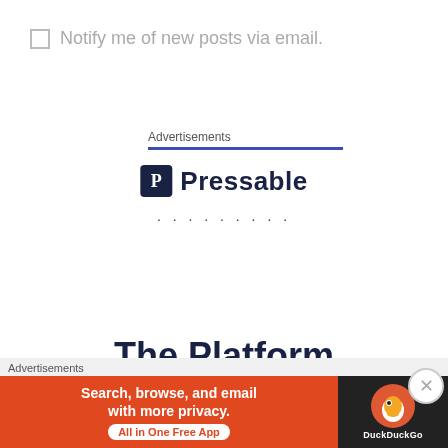Notify me of new posts via email.
Advertisements
[Figure (logo): Pressable logo with dark square P icon and 'Pressable' text in dark navy]
. . . . . . . . .
The Platform
Advertisements
[Figure (screenshot): DuckDuckGo advertisement banner: orange left panel 'Search, browse, and email with more privacy. All in One Free App', dark right panel with DuckDuckGo duck logo]